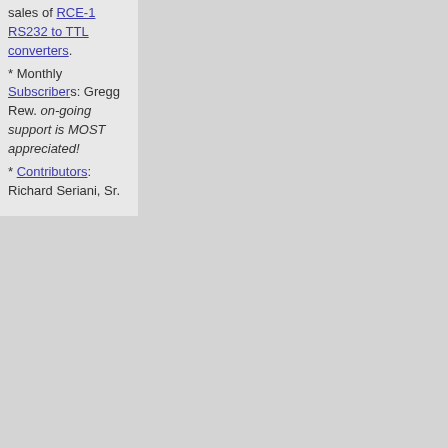sales of RCE-1 RS232 to TTL converters. * Monthly Subscribers: Gregg Rew. on-going support is MOST appreciated! * Contributors: Richard Seriani, Sr.